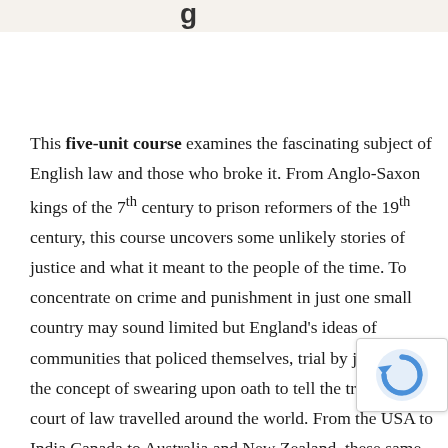g
This five-unit course examines the fascinating subject of English law and those who broke it. From Anglo-Saxon kings of the 7th century to prison reformers of the 19th century, this course uncovers some unlikely stories of justice and what it meant to the people of the time. To concentrate on crime and punishment in just one small country may sound limited but England's ideas of communities that policed themselves, trial by jury and the concept of swearing upon oath to tell the truth in a court of law travelled around the world. From the USA to India Canada to Australia and New Zealand, these same principles apply today. In this course, we uncover the origins of these